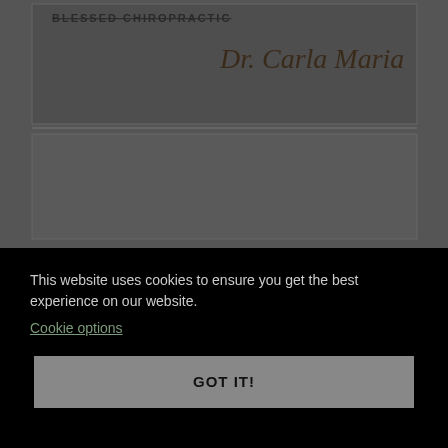[Figure (photo): A book or notebook cover with the text 'BLESSED CHIROPRACTIC' in bold uppercase letters and a cursive signature 'Dr. Carla Maria' on a gray background. Below the cover is a gray envelope or back cover portion.]
This website uses cookies to ensure you get the best experience on our website.
Cookie options
GOT IT!